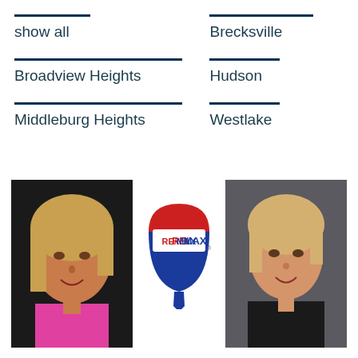show all
Brecksville
Broadview Heights
Hudson
Middleburg Heights
Westlake
[Figure (photo): Headshot of a woman with blonde hair wearing a pink top]
[Figure (logo): RE/MAX hot air balloon logo]
[Figure (photo): Headshot of a woman with blonde hair wearing a black top]